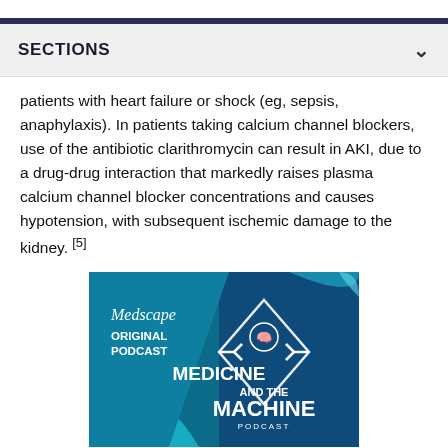SECTIONS
patients with heart failure or shock (eg, sepsis, anaphylaxis). In patients taking calcium channel blockers, use of the antibiotic clarithromycin can result in AKI, due to a drug-drug interaction that markedly raises plasma calcium channel blocker concentrations and causes hypotension, with subsequent ischemic damage to the kidney. [5]
[Figure (logo): Medscape Original Podcast - Medicine and the Machine Podcast promotional image with teal and dark blue background]